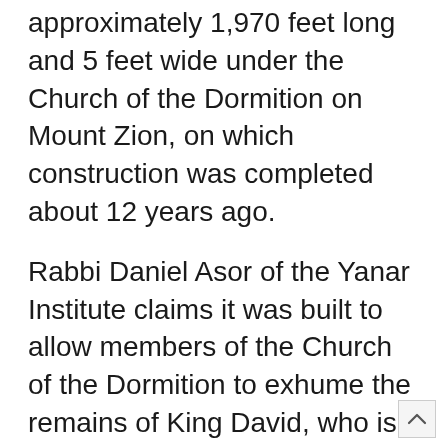approximately 1,970 feet long and 5 feet wide under the Church of the Dormition on Mount Zion, on which construction was completed about 12 years ago.
Rabbi Daniel Asor of the Yanar Institute claims it was built to allow members of the Church of the Dormition to exhume the remains of King David, who is believed to have been buried in Mt Zion. This church is so named as it is identified in Christian tradition as the place where the Virgin Mary died — or “fell asleep”, as the name suggests — and was taken (ascended or ‘assumed’) to heaven. Christian art shows Jesus emerging